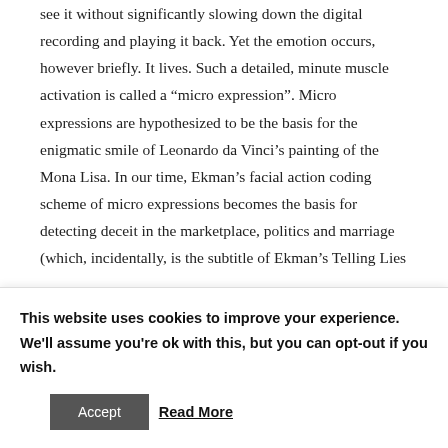see it without significantly slowing down the digital recording and playing it back. Yet the emotion occurs, however briefly. It lives. Such a detailed, minute muscle activation is called a “micro expression”. Micro expressions are hypothesized to be the basis for the enigmatic smile of Leonardo da Vinci’s painting of the Mona Lisa. In our time, Ekman’s facial action coding scheme of micro expressions becomes the basis for detecting deceit in the marketplace, politics and marriage (which, incidentally, is the subtitle of Ekman’s Telling Lies
This website uses cookies to improve your experience. We'll assume you're ok with this, but you can opt-out if you wish.